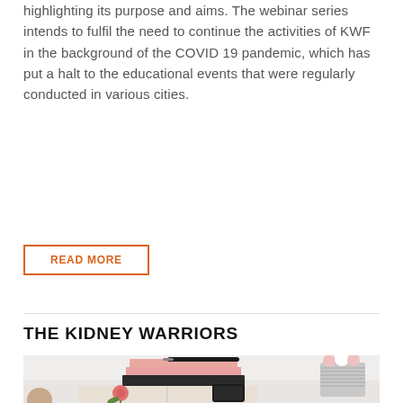highlighting its purpose and aims. The webinar series intends to fulfil the need to continue the activities of KWF in the background of the COVID 19 pandemic, which has put a halt to the educational events that were regularly conducted in various cities.
READ MORE
THE KIDNEY WARRIORS
[Figure (photo): A white desk scene with stacked pink/white notebooks and a black pen on top, a black journal with a rose and smartphone, and a tin can with pink and white flowers in the background. A partial person's face is visible at the bottom left corner.]